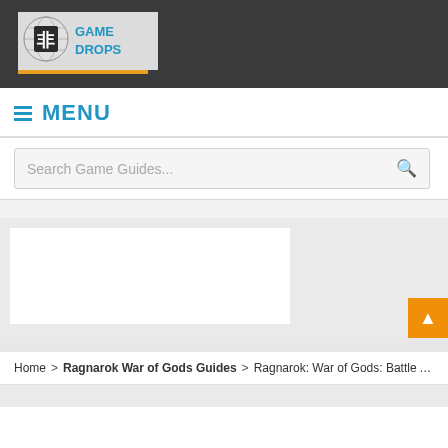[Figure (logo): Game guides website logo with globe/icon and stylized text, dark header background with orange underline]
MENU
Search Game Guides...
[Figure (screenshot): Advertisement/content placeholder area with white and light gray blocks]
Home > Ragnarok War of Gods Guides > Ragnarok: War of Gods: Battle Acolyte Stats and Skill ...